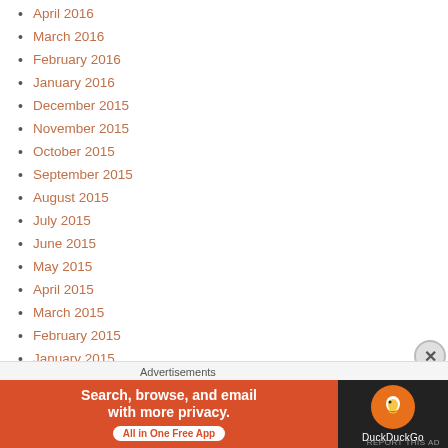April 2016
March 2016
February 2016
January 2016
December 2015
November 2015
October 2015
September 2015
August 2015
July 2015
June 2015
May 2015
April 2015
March 2015
February 2015
January 2015
December 2014
November 2014
[Figure (screenshot): DuckDuckGo advertisement banner: 'Search, browse, and email with more privacy. All in One Free App' with DuckDuckGo logo on dark background]